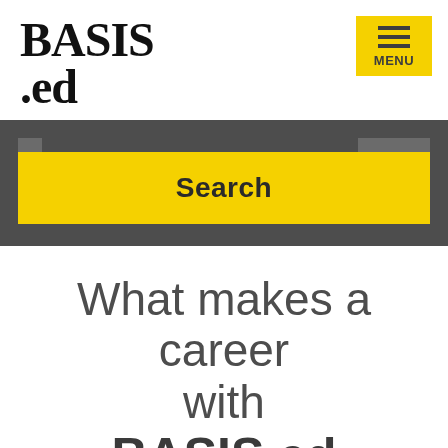[Figure (logo): BASIS.ed logo with serif font showing 'BASIS' on top line and '.ed' on second line]
[Figure (other): Yellow hamburger menu button with three horizontal lines and MENU label below]
[Figure (other): Dark gray search bar section with yellow Search button]
What makes a career with BASIS.ed different?